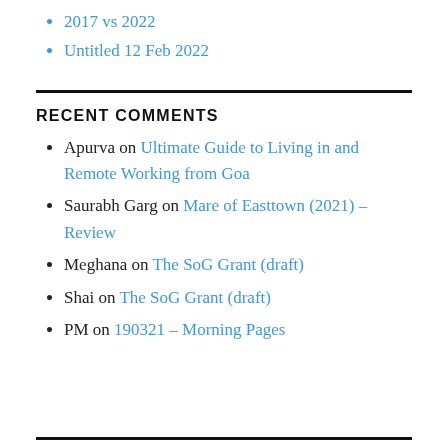2017 vs 2022
Untitled 12 Feb 2022
RECENT COMMENTS
Apurva on Ultimate Guide to Living in and Remote Working from Goa
Saurabh Garg on Mare of Easttown (2021) – Review
Meghana on The SoG Grant (draft)
Shai on The SoG Grant (draft)
PM on 190321 – Morning Pages